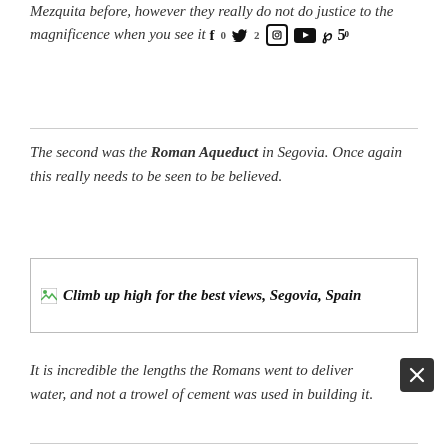Mezquita before, however they really do not do justice to the magnificence when you see it [social icons]
[Figure (other): Broken image placeholder with alt text: Climb up high for the best views, Segovia, Spain]
The second was the Roman Aqueduct in Segovia. Once again this really needs to be seen to be believed.
It is incredible the lengths the Romans went to deliver water, and not a trowel of cement was used in building it.